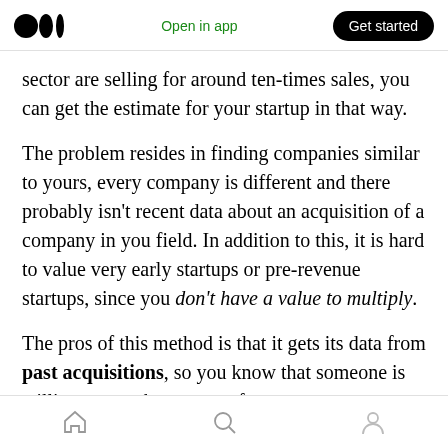Open in app | Get started
sector are selling for around ten-times sales, you can get the estimate for your startup in that way.
The problem resides in finding companies similar to yours, every company is different and there probably isn't recent data about an acquisition of a company in you field. In addition to this, it is hard to value very early startups or pre-revenue startups, since you don't have a value to multiply.
The pros of this method is that it gets its data from past acquisitions, so you know that someone is willing to pay that amount for a
Home | Search | Profile